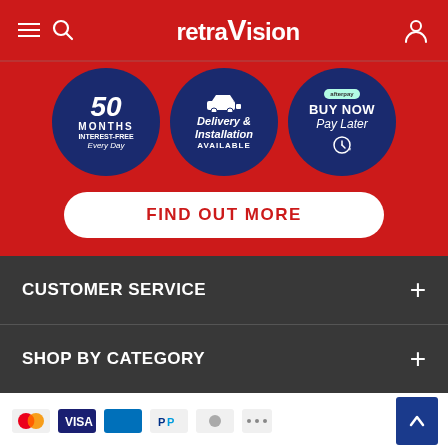retraVision — menu, search, user icon header
[Figure (infographic): Three circular blue badges: '50 Months Interest-Free Every Day', 'Delivery & Installation Available', 'BUY NOW Pay Later' (Afterpay)]
FIND OUT MORE
CUSTOMER SERVICE
SHOP BY CATEGORY
[Figure (infographic): Payment method icons: Mastercard, Visa, and others. Scroll-to-top blue button with chevron up.]